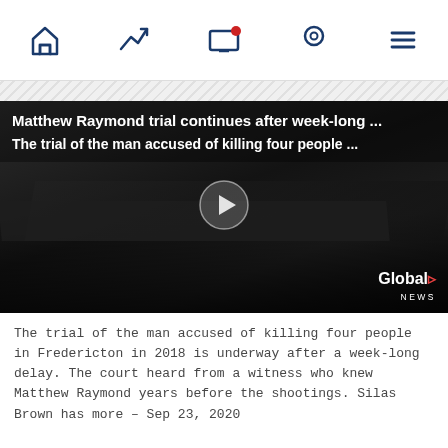Navigation bar with home, trending, screen, location, and menu icons
[Figure (screenshot): Video thumbnail showing a dark courtroom interior with desks and chairs. Overlay text reads: 'Matthew Raymond trial continues after week-long ... The trial of the man accused of killing four people ...' with a play button in the center and Global News logo in the bottom right.]
The trial of the man accused of killing four people in Fredericton in 2018 is underway after a week-long delay. The court heard from a witness who knew Matthew Raymond years before the shootings. Silas Brown has more – Sep 23, 2020